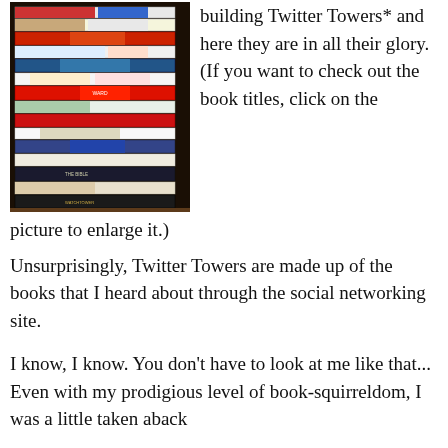[Figure (photo): A tall stack of books piled horizontally, showing colorful spines with various titles, photographed on a dark background.]
building Twitter Towers* and here they are in all their glory. (If you want to check out the book titles, click on the picture to enlarge it.)
Unsurprisingly, Twitter Towers are made up of the books that I heard about through the social networking site.
I know, I know. You don't have to look at me like that... Even with my prodigious level of book-squirreldom, I was a little taken aback